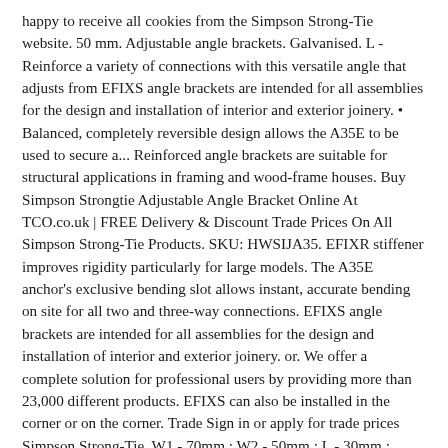happy to receive all cookies from the Simpson Strong-Tie website. 50 mm. Adjustable angle brackets. Galvanised. L - Reinforce a variety of connections with this versatile angle that adjusts from EFIXS angle brackets are intended for all assemblies for the design and installation of interior and exterior joinery. • Balanced, completely reversible design allows the A35E to be used to secure a... Reinforced angle brackets are suitable for structural applications in framing and wood-frame houses. Buy Simpson Strongtie Adjustable Angle Bracket Online At TCO.co.uk | FREE Delivery & Discount Trade Prices On All Simpson Strong-Tie Products. SKU: HWSIJA35. EFIXR stiffener improves rigidity particularly for large models. The A35E anchor's exclusive bending slot allows instant, accurate bending on site for all two and three-way connections. EFIXS angle brackets are intended for all assemblies for the design and installation of interior and exterior joinery. or. We offer a complete solution for professional users by providing more than 23,000 different products. EFIXS can also be installed in the corner or on the corner. Trade Sign in or apply for trade prices Simpson Strong-Tie. W1 - 70mm : W2 - 50mm : L - 30mm : Thickness 2.0mm. Cancel. Material. If you continue without changing your settings, we'll assume that you are happy to receive all cookies from the Simpson Strong-Tie website. LS - Field adjustable angles from 0° to 135°. H connector loads based on installation to double top plate. £0.37 ex VAT. ... EFIXR - Adjustable angle brackets EFIXR angle brackets are intended for